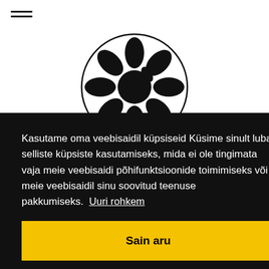[Figure (logo): Circular logo with a black flower/daisy illustration and 'M.I.O.' text below it]
Kasutame oma veebisaidil küpsiseid Küsime sinult luba selliste küpsiste kasutamiseks, mida ei ole tingimata vaja meie veebisaidi põhifunktsioonide toimimiseks või meie veebisaidil sinu soovitud teenuse pakkumiseks. Uuri rohkem
Sain aru
Get acquainted with the service providers